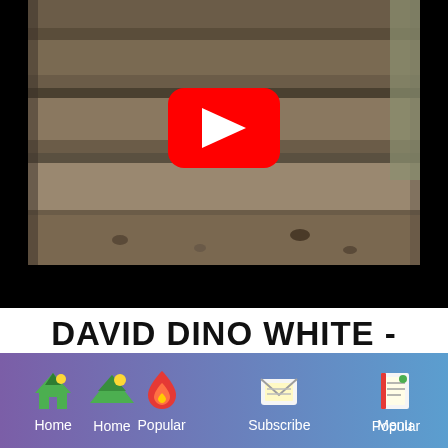[Figure (screenshot): YouTube video thumbnail showing stone steps outdoors with a red YouTube play button overlay in the center. Below the thumbnail is a black progress/control bar.]
DAVID DINO WHITE - HARD WORK
[Figure (infographic): Navigation bar with gradient purple-to-blue background containing four items: Home (tent icon), Popular (flame icon), Subscribe (envelope icon), Menu (document icon).]